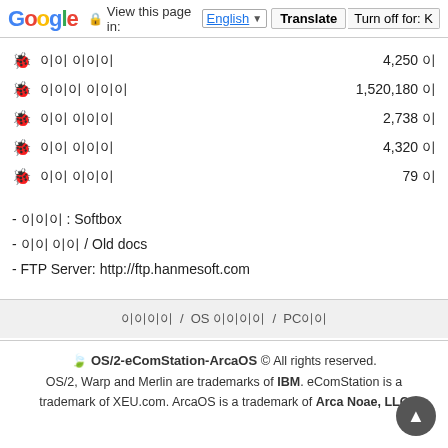Google Translate bar: View this page in: English | Translate | Turn off for: K
이 이 이이이 4,250 이
이 이이 이이이 1,520,180 이
이 이이 이이이 2,738 이
이 이이 이이이 4,320 이
이 이이 이이이 79 이
- 이이이 : Softbox
- 이이 이이 / Old docs
- FTP Server: http://ftp.hanmesoft.com
이이이이 / OS 이이이이 / PC이이
OS/2-eComStation-ArcaOS © All rights reserved. OS/2, Warp and Merlin are trademarks of IBM. eComStation is a trademark of XEU.com. ArcaOS is a trademark of Arca Noae, LLC